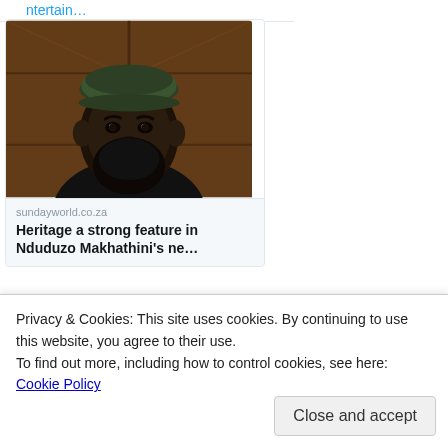ntertain…
[Figure (photo): Portrait photo of a Black man with a dark beard wearing a green/dark beret and black clothing, photographed against a wooden door background.]
sundayworld.co.za
Heritage a strong feature in Nduduzo Makhathini's ne…
1  10
LondonJazz News Retweeted
Privacy & Cookies: This site uses cookies. By continuing to use this website, you agree to their use.
To find out more, including how to control cookies, see here: Cookie Policy
Close and accept
appointed dean of